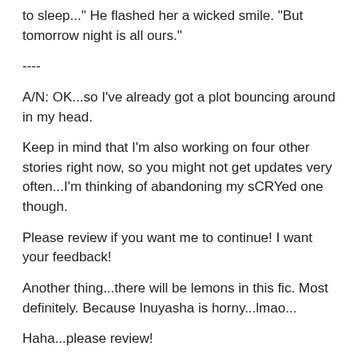to sleep..." He flashed her a wicked smile. "But tomorrow night is all ours."
----
A/N: OK...so I've already got a plot bouncing around in my head.
Keep in mind that I'm also working on four other stories right now, so you might not get updates very often...I'm thinking of abandoning my sCRYed one though.
Please review if you want me to continue! I want your feedback!
Another thing...there will be lemons in this fic. Most definitely. Because Inuyasha is horny...lmao...
Haha...please review!